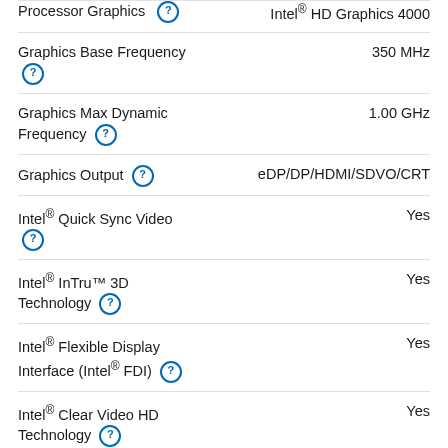| Feature | Value |
| --- | --- |
| Processor Graphics ⓘ | Intel® HD Graphics 4000 |
| Graphics Base Frequency ⓘ | 350 MHz |
| Graphics Max Dynamic Frequency ⓘ | 1.00 GHz |
| Graphics Output ⓘ | eDP/DP/HDMI/SDVO/CRT |
| Intel® Quick Sync Video ⓘ | Yes |
| Intel® InTru™ 3D Technology ⓘ | Yes |
| Intel® Flexible Display Interface (Intel® FDI) ⓘ | Yes |
| Intel® Clear Video HD Technology ⓘ | Yes |
| Intel® Clear Video | No |